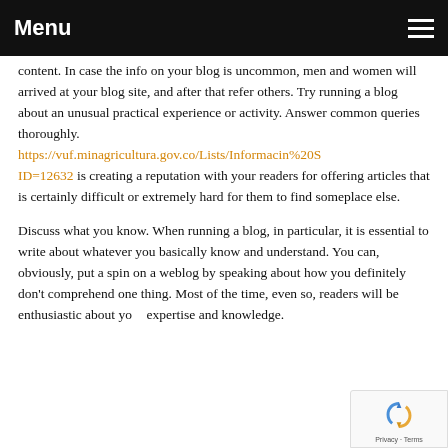Menu
content. In case the info on your blog is uncommon, men and women will arrived at your blog site, and after that refer others. Try running a blog about an unusual practical experience or activity. Answer common queries thoroughly. https://vuf.minagricultura.gov.co/Lists/Informacin%20ID=12632 is creating a reputation with your readers for offering articles that is certainly difficult or extremely hard for them to find someplace else.
Discuss what you know. When running a blog, in particular, it is essential to write about whatever you basically know and understand. You can, obviously, put a spin on a weblog by speaking about how you definitely don't comprehend one thing. Most of the time, even so, readers will be enthusiastic about your expertise and knowledge.